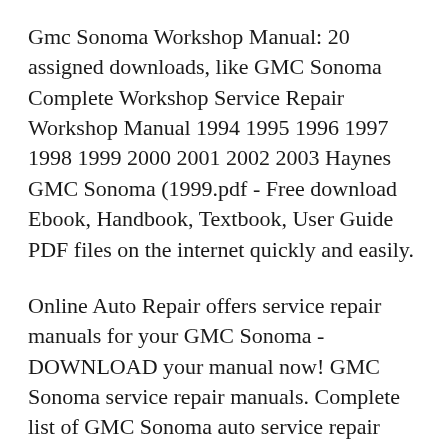Gmc Sonoma Workshop Manual: 20 assigned downloads, like GMC Sonoma Complete Workshop Service Repair Workshop Manual 1994 1995 1996 1997 1998 1999 2000 2001 2002 2003 Haynes GMC Sonoma (1999.pdf - Free download Ebook, Handbook, Textbook, User Guide PDF files on the internet quickly and easily.
Online Auto Repair offers service repair manuals for your GMC Sonoma - DOWNLOAD your manual now! GMC Sonoma service repair manuals. Complete list of GMC Sonoma auto service repair manuals: Chevrolet Sonoma S10 Gmc 1998 1999 Workshop Service Repair Manual The Chevrolet S-10 is a compact pickup from the Chevrolet marque of General Motors. When it